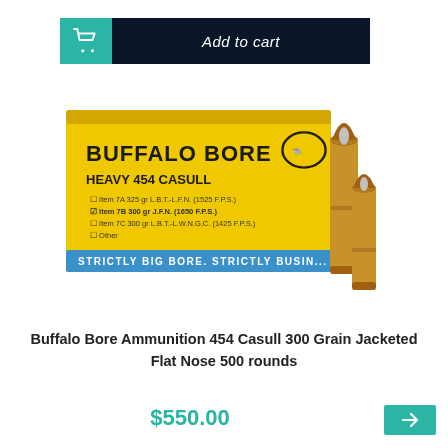[Figure (screenshot): Add to cart button with teal cart icon on left and dark navy background with italic 'Add to cart' text]
[Figure (photo): Buffalo Bore Heavy 454 Casull ammunition box (yellow and blue) with two brass JFN bullets standing next to it. Box reads BUFFALO BORE, HEAVY 454 CASULL, STRICTLY BIG BORE. STRICTLY BUSINESS.]
Buffalo Bore Ammunition 454 Casull 300 Grain Jacketed Flat Nose 500 rounds
$550.00